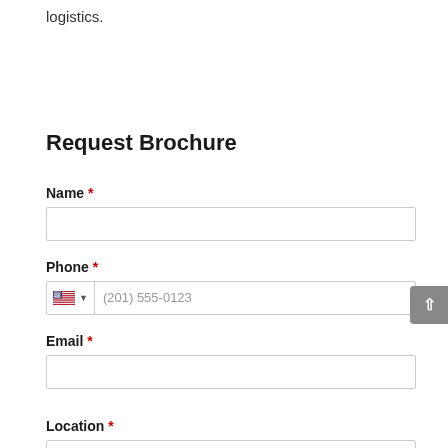logistics.
Request Brochure
Name *
Phone *
(201) 555-0123
Email *
Location *